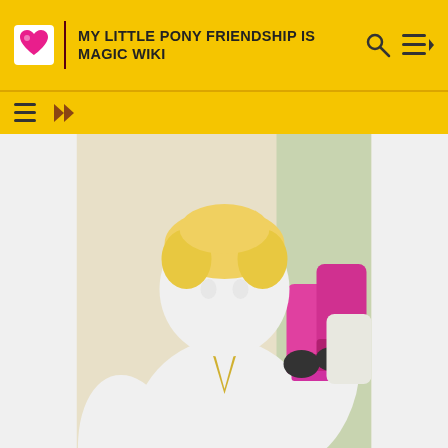MY LITTLE PONY FRIENDSHIP IS MAGIC WIKI
[Figure (illustration): Animated character Bulk Biceps depicted as a human male with large white muscular body, wearing a white short-sleeve shirt with gold V-collar trim, dark grey pants, and a black belt with silver buckle. He has blonde curly hair and is holding pink boots. The background shows pale yellow and green tones.]
Bulk Biceps in My Little Pony Equestria Girls: Rainbow Rocks